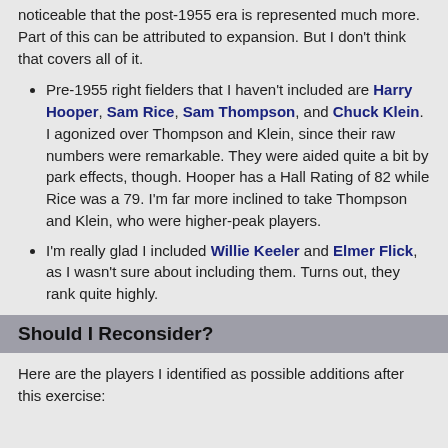noticeable that the post-1955 era is represented much more. Part of this can be attributed to expansion. But I don't think that covers all of it.
Pre-1955 right fielders that I haven't included are Harry Hooper, Sam Rice, Sam Thompson, and Chuck Klein. I agonized over Thompson and Klein, since their raw numbers were remarkable. They were aided quite a bit by park effects, though. Hooper has a Hall Rating of 82 while Rice was a 79. I'm far more inclined to take Thompson and Klein, who were higher-peak players.
I'm really glad I included Willie Keeler and Elmer Flick, as I wasn't sure about including them. Turns out, they rank quite highly.
Should I Reconsider?
Here are the players I identified as possible additions after this exercise: